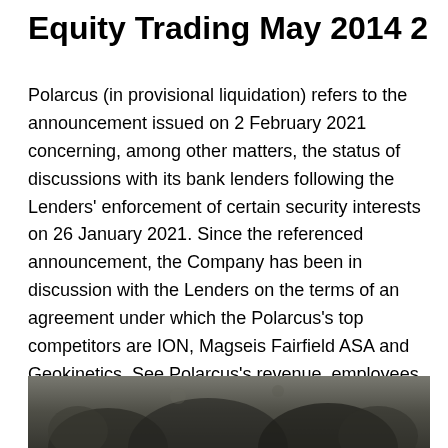Equity Trading May 2014 2
Polarcus (in provisional liquidation) refers to the announcement issued on 2 February 2021 concerning, among other matters, the status of discussions with its bank lenders following the Lenders’ enforcement of certain security interests on 26 January 2021. Since the referenced announcement, the Company has been in discussion with the Lenders on the terms of an agreement under which the Polarcus’s top competitors are ION, Magseis Fairfield ASA and Geokinetics. See Polarcus’s revenue, employees, and funding info on Owler, the world’s largest community-based business insights platform.
[Figure (photo): Dark outdoor photograph, appears to show foliage or trees in low light]